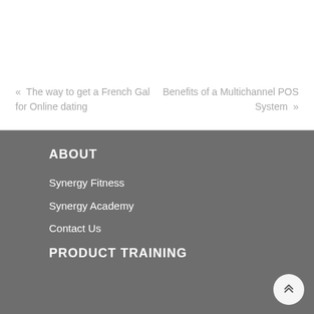« The way to get a French Gal for Online dating
Benefits of a Multichannel POS System »
ABOUT
Synergy Fitness
Synergy Academy
Contact Us
PRODUCT TRAINING